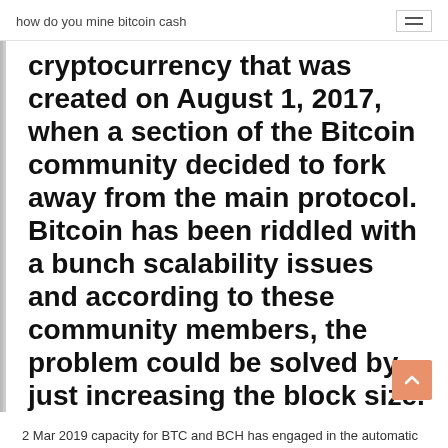how do you mine bitcoin cash
cryptocurrency that was created on August 1, 2017, when a section of the Bitcoin community decided to fork away from the main protocol. Bitcoin has been riddled with a bunch scalability issues and according to these community members, the problem could be solved by just increasing the block size.
2 Mar 2019 capacity for BTC and BCH has engaged in the automatic mining. In addition, we analyze the recent “hash war” between Bitcoin ABC and SV 13 Nov 2018In the latest battle with...